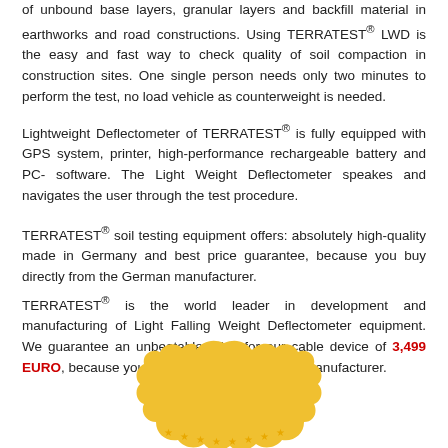of unbound base layers, granular layers and backfill material in earthworks and road constructions. Using TERRATEST® LWD is the easy and fast way to check quality of soil compaction in construction sites. One single person needs only two minutes to perform the test, no load vehicle as counterweight is needed.
Lightweight Deflectometer of TERRATEST® is fully equipped with GPS system, printer, high-performance rechargeable battery and PC-software. The Light Weight Deflectometer speakes and navigates the user through the test procedure.
TERRATEST® soil testing equipment offers: absolutely high-quality made in Germany and best price guarantee, because you buy directly from the German manufacturer.
TERRATEST® is the world leader in development and manufacturing of Light Falling Weight Deflectometer equipment. We guarantee an unbeatable price for our cable device of 3,499 EURO, because you buy directly from German manufacturer.
[Figure (illustration): Gold/yellow badge or seal shape partially visible at bottom center of page, with stars along the bottom edge]